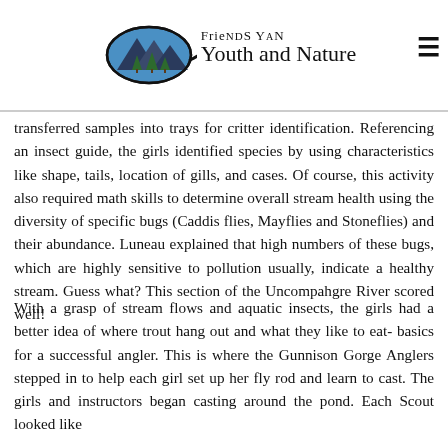Friends of Youth and Nature
transferred samples into trays for critter identification. Referencing an insect guide, the girls identified species by using characteristics like shape, tails, location of gills, and cases. Of course, this activity also required math skills to determine overall stream health using the diversity of specific bugs (Caddis flies, Mayflies and Stoneflies) and their abundance. Luneau explained that high numbers of these bugs, which are highly sensitive to pollution usually, indicate a healthy stream. Guess what? This section of the Uncompahgre River scored well!
With a grasp of stream flows and aquatic insects, the girls had a better idea of where trout hang out and what they like to eat- basics for a successful angler. This is where the Gunnison Gorge Anglers stepped in to help each girl set up her fly rod and learn to cast. The girls and instructors began casting around the pond. Each Scout looked like